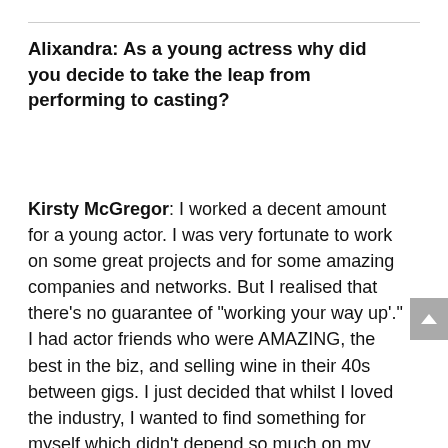Alixandra: As a young actress why did you decide to take the leap from performing to casting?
Kirsty McGregor: I worked a decent amount for a young actor. I was very fortunate to work on some great projects and for some amazing companies and networks. But I realised that there's no guarantee of "working your way up'." I had actor friends who were AMAZING, the best in the biz, and selling wine in their 40s between gigs. I just decided that whilst I loved the industry, I wanted to find something for myself which didn't depend so much on my exact age at